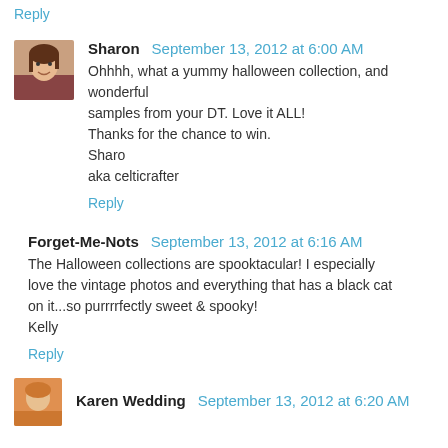Reply
Sharon  September 13, 2012 at 6:00 AM
Ohhhh, what a yummy halloween collection, and wonderful samples from your DT. Love it ALL!
Thanks for the chance to win.
Sharo
aka celticrafter
Reply
Forget-Me-Nots  September 13, 2012 at 6:16 AM
The Halloween collections are spooktacular! I especially love the vintage photos and everything that has a black cat on it...so purrrrfectly sweet & spooky!
Kelly
Reply
Karen Wedding  September 13, 2012 at 6:20 AM